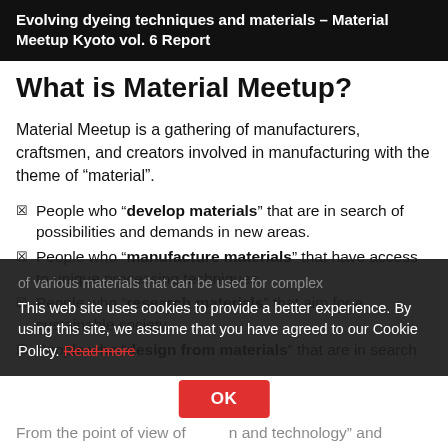Evolving dyeing techniques and materials – Material Meetup Kyoto vol. 6 Report
What is Material Meetup?
Material Meetup is a gathering of manufacturers, craftsmen, and creators involved in manufacturing with the theme of “material”.
People who “develop materials” that are in search of possibilities and demands in new areas.
People who “manufacture materials” that have access to unique processing techniques.
People who “research materials” that aim for a sustainable society.
People who “design from materials” that are in search of various materials that can be used for complex…
This web site uses cookies to provide a better experience. By using this site, we assume that you have agreed to our Cookie Policy. Read more
From the point of view of … n and technology" and